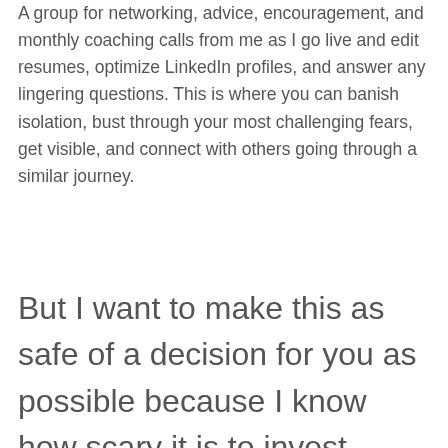A group for networking, advice, encouragement, and monthly coaching calls from me as I go live and edit resumes, optimize LinkedIn profiles, and answer any lingering questions. This is where you can banish isolation, bust through your most challenging fears, get visible, and connect with others going through a similar journey.
But I want to make this as safe of a decision for you as possible because I know how scary it is to invest money